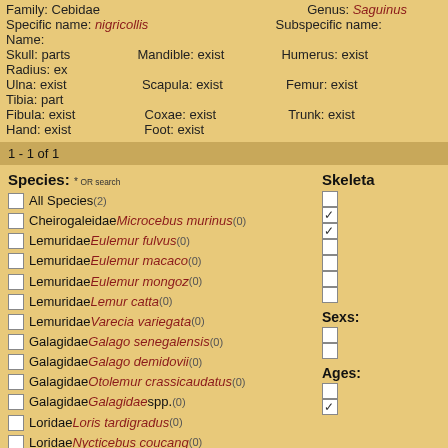Family: Cebidae    Genus: Saguinus
Specific name: nigricollis    Subspecific name:
Name:
Skull: parts    Mandible: exist    Humerus: exist    Radius: ex
Ulna: exist    Scapula: exist    Femur: exist    Tibia: part
Fibula: exist    Coxae: exist    Trunk: exist
Hand: exist    Foot: exist
1 - 1 of 1
All Species(2)
Cheirogaleidae Microcebus murinus(0)
Lemuridae Eulemur fulvus(0)
Lemuridae Eulemur macaco(0)
Lemuridae Eulemur mongoz(0)
Lemuridae Lemur catta(0)
Lemuridae Varecia variegata(0)
Galagidae Galago senegalensis(0)
Galagidae Galago demidovii(0)
Galagidae Otolemur crassicaudatus(0)
Galagidae Galagidae spp.(0)
Loridae Loris tardigradus(0)
Loridae Nycticebus coucang(0)
Loridae Nycticebus pygmaeus(0)
Loridae Perodicticus potto(0)
Species: * OR search
Skeleta
Sexs:
Ages: